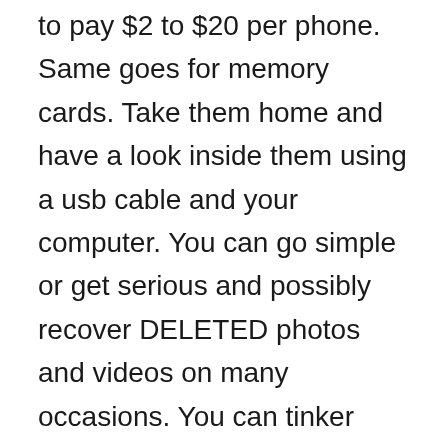to pay $2 to $20 per phone. Same goes for memory cards. Take them home and have a look inside them using a usb cable and your computer. You can go simple or get serious and possibly recover DELETED photos and videos on many occasions. You can tinker with working phones, or even broken ones that power up when USB is connected to them. Broken ones work more often then not. (screen broke, dead battery etc.)
Please understand I'll be as realistic as possible here. I'm just guestimating these averages.